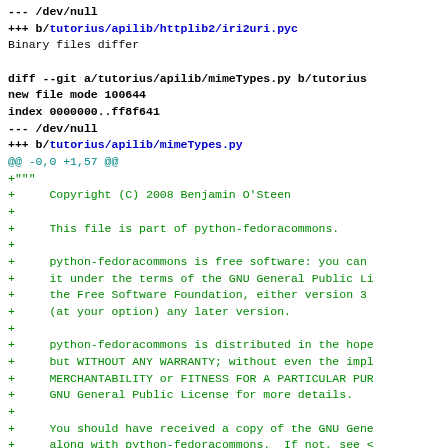--- /dev/null
+++ b/tutorius/apilib/httplib2/iri2uri.pyc
Binary files differ

diff --git a/tutorius/apilib/mimeTypes.py b/tutorius
new file mode 100644
index 0000000..ff8f641
--- /dev/null
+++ b/tutorius/apilib/mimeTypes.py
@@ -0,0 +1,57 @@
+"""
+     Copyright (C) 2008 Benjamin O'Steen
+
+     This file is part of python-fedoracommons.
+
+     python-fedoracommons is free software: you can
+     it under the terms of the GNU General Public Li
+     the Free Software Foundation, either version 3
+     (at your option) any later version.
+
+     python-fedoracommons is distributed in the hope
+     but WITHOUT ANY WARRANTY; without even the impl
+     MERCHANTABILITY or FITNESS FOR A PARTICULAR PUR
+     GNU General Public License for more details.
+
+     You should have received a copy of the GNU Gene
+     along with python-fedoracommons.  If not, see <
+"""
+
+     license    = 'GPL http://www.gnu.org/licenses/gpl